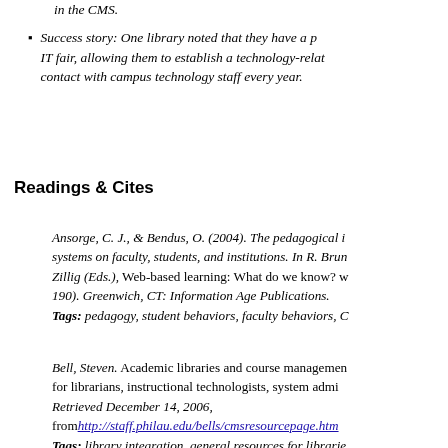in the CMS.
Success story: One library noted that they have a presence at the campus IT fair, allowing them to establish a technology-related contact with campus technology staff every year.
Readings & Cites
Ansorge, C. J., & Bendus, O. (2004). The pedagogical implications of course management systems on faculty, students, and institutions. In R. Bruning, C. A. Horn, & L. M. Zillig (Eds.), Web-based learning: What do we know? where do we go? (pp. 169–190). Greenwich, CT: Information Age Publications. Tags: pedagogy, student behaviors, faculty behaviors, CMS
Bell, Steven. Academic libraries and course management systems: A resource page for librarians, instructional technologists, system administrators, and others. Retrieved December 14, 2006, from http://staff.philau.edu/bells/cmsresourcepage.htm Tags: library integration, general resources for librarians